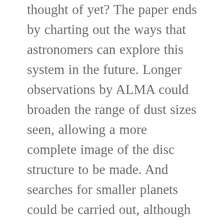thought of yet? The paper ends by charting out the ways that astronomers can explore this system in the future. Longer observations by ALMA could broaden the range of dust sizes seen, allowing a more complete image of the disc structure to be made. And searches for smaller planets could be carried out, although such precise measurements will probably need to wait for the next generation of truly